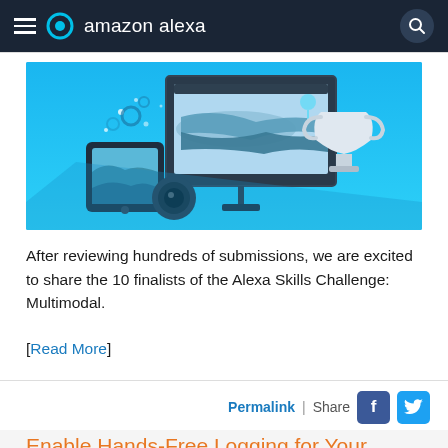amazon alexa
[Figure (illustration): Promotional banner with blue background showing a tablet device, presentation screen with maps, a camera lens, and a trophy cup — illustrating the Alexa Skills Challenge: Multimodal contest.]
After reviewing hundreds of submissions, we are excited to share the 10 finalists of the Alexa Skills Challenge: Multimodal.
[Read More]
Permalink | Share
Enable Hands-Free Logging for Your